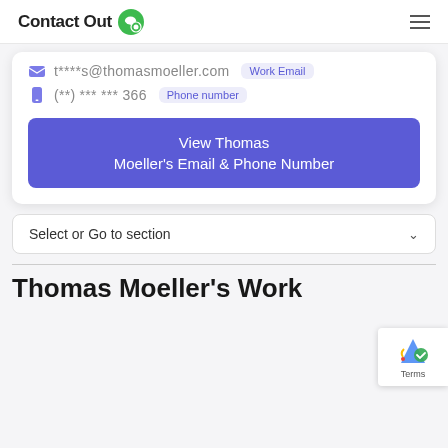Contact Out
t****s@thomasmoeller.com  Work Email
(**) *** *** 366  Phone number
View Thomas Moeller's Email & Phone Number
Select or Go to section
Thomas Moeller's Work